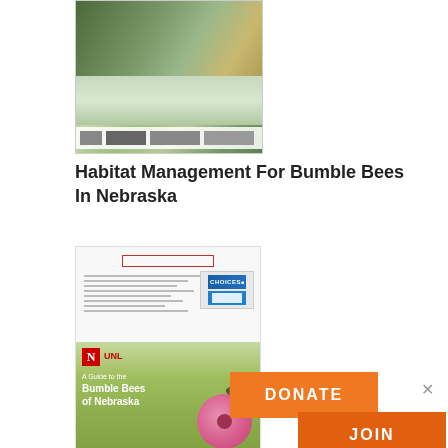[Figure (photo): Book cover thumbnail: Habitat Management For Bumble Bees In Nebraska — collage of bumble bees on wildflowers and prairie landscape; logos at bottom including USDA, Nebraska, and other partner organizations]
Habitat Management For Bumble Bees In Nebraska
[Figure (photo): Two stacked book cover thumbnails: top is a white document/report with a red-bordered title box and partner logos; bottom is a green cover showing 'A Guide to the Bumble Bees of Nebraska' with University of Nebraska (N logo) branding and a bee on a pink coneflower]
DONATE
JOIN